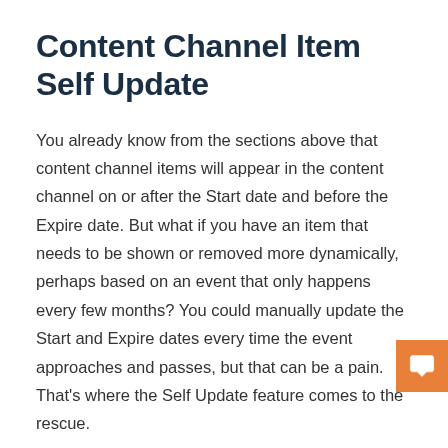Content Channel Item Self Update
You already know from the sections above that content channel items will appear in the content channel on or after the Start date and before the Expire date. But what if you have an item that needs to be shown or removed more dynamically, perhaps based on an event that only happens every few months? You could manually update the Start and Expire dates every time the event approaches and passes, but that can be a pain. That's where the Self Update feature comes to the rescue.
Content channel items can be shown on your website in several different ways. It's all driven by the Lava template